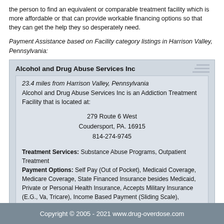the person to find an equivalent or comparable treatment facility which is more affordable or that can provide workable financing options so that they can get the help they so desperately need.
Payment Assistance based on Facility category listings in Harrison Valley, Pennsylvania:
Alcohol and Drug Abuse Services Inc

23.4 miles from Harrison Valley, Pennsylvania
Alcohol and Drug Abuse Services Inc is an Addiction Treatment Facility that is located at:

279 Route 6 West
Coudersport, PA. 16915
814-274-9745

Treatment Services: Substance Abuse Programs, Outpatient Treatment
Payment Options: Self Pay (Out of Pocket), Medicaid Coverage, Medicare Coverage, State Financed Insurance besides Medicaid, Private or Personal Health Insurance, Accepts Military Insurance (E.G., Va, Tricare), Income Based Payment (Sliding Scale), Payment Assistance (based on Facility)
Copyright © 2005 - 2021 www.drug-overdose.com